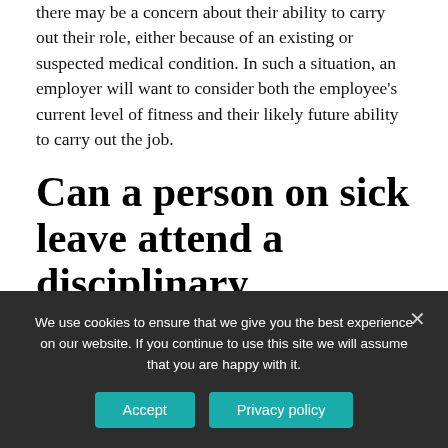there may be a concern about their ability to carry out their role, either because of an existing or suspected medical condition. In such a situation, an employer will want to consider both the employee's current level of fitness and their likely future ability to carry out the job.
Can a person on sick leave attend a disciplinary meeting?
Requesting an employee on sick leave to attend a
We use cookies to ensure that we give you the best experience on our website. If you continue to use this site we will assume that you are happy with it.